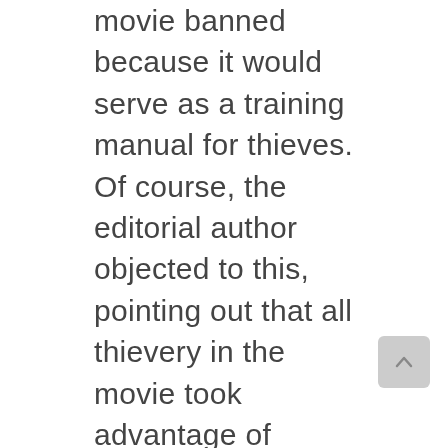movie banned because it would serve as a training manual for thieves. Of course, the editorial author objected to this, pointing out that all thievery in the movie took advantage of movie tricks like computer effects, invisible wires, etc. Also, he protested that if you ban this movie for promoting this you might